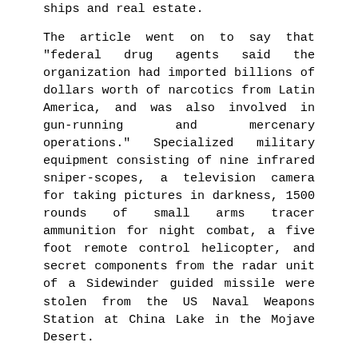ships and real estate.
The article went on to say that "federal drug agents said the organization had imported billions of dollars worth of narcotics from Latin America, and was also involved in gun-running and mercenary operations." Specialized military equipment consisting of nine infrared sniper-scopes, a television camera for taking pictures in darkness, 1500 rounds of small arms tracer ammunition for night combat, a five foot remote control helicopter, and secret components from the radar unit of a Sidewinder guided missile were stolen from the US Naval Weapons Station at China Lake in the Mojave Desert.
Federal agents said some of the stolen equipment was going to be used to make electronic equipment for drug smugglers and some was traded to drug suppliers in Columbia. Twentynine members of the Company were indicted by the Fresno federal grand jury in 1981. Amongst those indicated was Andrew "Drew" Thornton, 40, a former narcotics officer.
On September 13, 1985, the Los Angeles Times published the story of Thornton's death, entitled, "Former Narcotics Officer Parachutes Out of Plane, Dies with 77